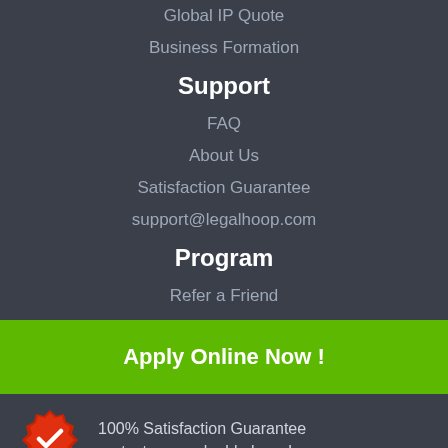Global IP Quote
Business Formation
Support
FAQ
About Us
Satisfaction Guarantee
support@legalhoop.com
Program
Refer a Friend
Apply Online Now !
100% Satisfaction Guarantee protect your valuable brand now